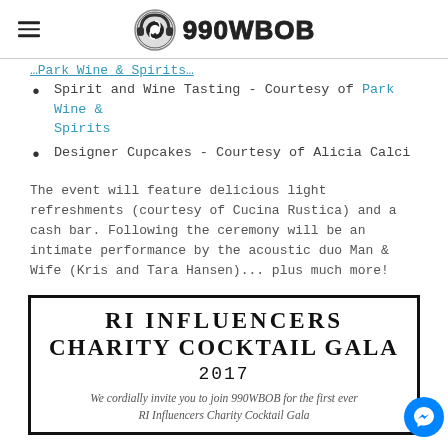990WBOB
Spirit and Wine Tasting - Courtesy of Park Wine & Spirits
Designer Cupcakes - Courtesy of Alicia Calci
The event will feature delicious light refreshments (courtesy of Cucina Rustica) and a cash bar. Following the ceremony will be an intimate performance by the acoustic duo Man & Wife (Kris and Tara Hansen)... plus much more!
[Figure (illustration): RI Influencers Charity Cocktail Gala 2017 invitation card with decorative border and italic script text: We cordially invite you to join 990WBOB for the first ever RI Influencers Charity Cocktail Gala]